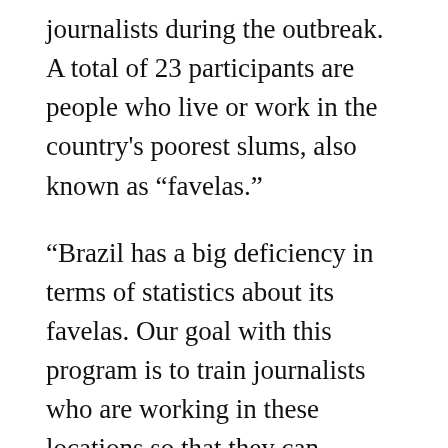journalists during the outbreak. A total of 23 participants are people who live or work in the country's poorest slums, also known as “favelas.”
“Brazil has a big deficiency in terms of statistics about its favelas. Our goal with this program is to train journalists who are working in these locations so that they can produce reliable content too,” said Natália Leal, Agência Lupa’s content director.
Leal said that Lupa’s workshops are